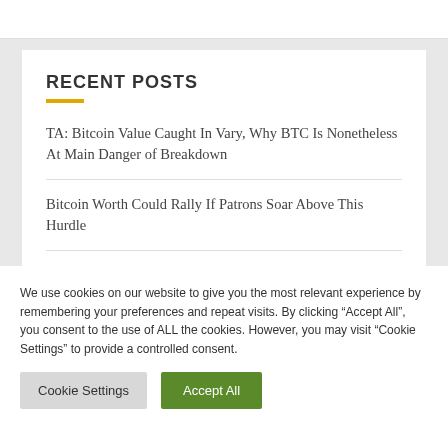RECENT POSTS
TA: Bitcoin Value Caught In Vary, Why BTC Is Nonetheless At Main Danger of Breakdown
Bitcoin Worth Could Rally If Patrons Soar Above This Hurdle
We use cookies on our website to give you the most relevant experience by remembering your preferences and repeat visits. By clicking “Accept All”, you consent to the use of ALL the cookies. However, you may visit “Cookie Settings” to provide a controlled consent.